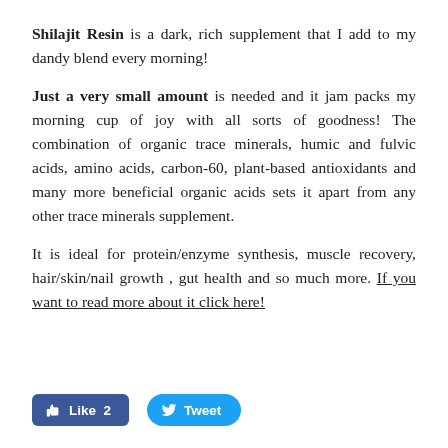Shilajit Resin is a dark, rich supplement that I add to my dandy blend every morning!
Just a very small amount is needed and it jam packs my morning cup of joy with all sorts of goodness! The combination of organic trace minerals, humic and fulvic acids, amino acids, carbon-60, plant-based antioxidants and many more beneficial organic acids sets it apart from any other trace minerals supplement.
It is ideal for protein/enzyme synthesis, muscle recovery, hair/skin/nail growth , gut health and so much more. If you want to read more about it click here!
[Figure (other): Social sharing buttons: Facebook Like (count 2) and Tweet button]